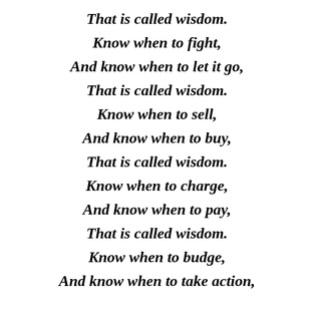That is called wisdom.
Know when to fight,
And know when to let it go,
That is called wisdom.
Know when to sell,
And know when to buy,
That is called wisdom.
Know when to charge,
And know when to pay,
That is called wisdom.
Know when to budge,
And know when to take action,